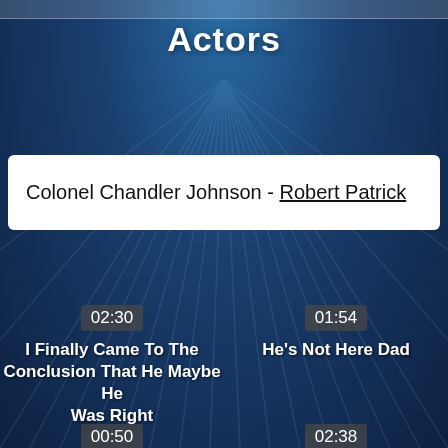Actors
Colonel Chandler Johnson - Robert Patrick
02:30
I Finally Came To The Conclusion That He Maybe He Was Right
01:54
He's Not Here Dad
00:50
02:38